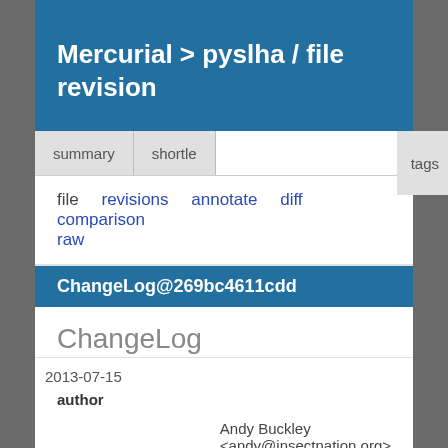Mercurial > pyslha / file revision
summary | shortle... | tags
file  revisions  annotate  diff  comparison  raw
ChangeLog@269bc4611cdd
ChangeLog
2013-07-15
| author | Andy Buckley <andy@insectnation.org> |
| date | Mon, 15 Jul 2013 16:50:38 +0200 |
| changeset 244 | 269bc4611cdd |